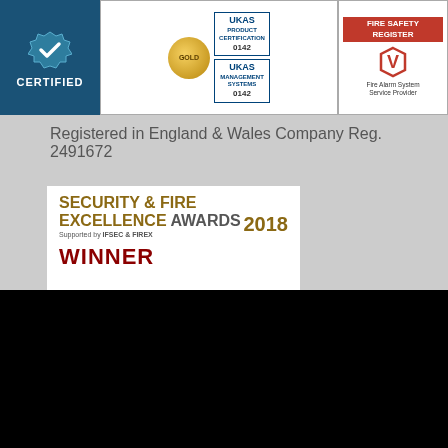[Figure (logo): Certification badges strip: blue Certified badge with checkmark, UKAS Product Certification Gold 0142 and UKAS Management Systems 0142 badges, and Fire Safety Register Fire Alarm System Service Provider badge]
Registered in England & Wales Company Reg. 2491672
[Figure (logo): Security & Fire Excellence Awards 2018 Winner badge - supported by IFSEC & FIREX]
Staff Area   Privacy Policy   Copyright   Contact
© Copyright Lifeline Alarm Systems Ltd. All rights reserved. Website by PC Consultants